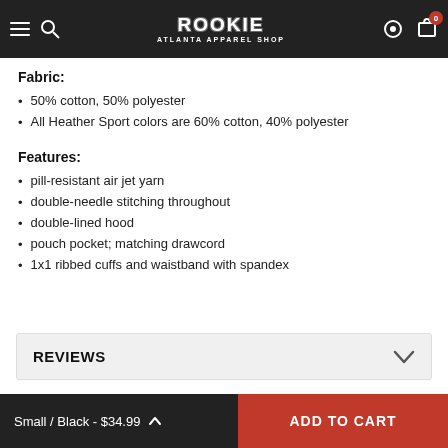ROOKIE ATLANTA APPAREL SHOP
Fabric:
50% cotton, 50% polyester
All Heather Sport colors are 60% cotton, 40% polyester
Features:
pill-resistant air jet yarn
double-needle stitching throughout
double-lined hood
pouch pocket; matching drawcord
1x1 ribbed cuffs and waistband with spandex
REVIEWS
Small / Black - $34.99  |  ADD TO CART